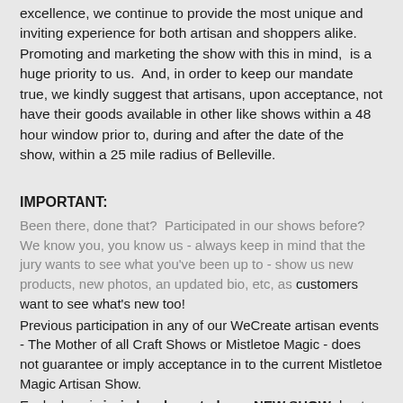excellence, we continue to provide the most unique and inviting experience for both artisan and shoppers alike.  Promoting and marketing the show with this in mind,  is a huge priority to us.  And, in order to keep our mandate true, we kindly suggest that artisans, upon acceptance, not have their goods available in other like shows within a 48 hour window prior to, during and after the date of the show, within a 25 mile radius of Belleville.
IMPORTANT:
Been there, done that?  Participated in our shows before?  We know you, you know us - always keep in mind that the jury wants to see what you've been up to - show us new products, new photos, an updated bio, etc, as customers want to see what's new too!
Previous participation in any of our WeCreate artisan events - The Mother of all Craft Shows or Mistletoe Magic - does not guarantee or imply acceptance in to the current Mistletoe Magic Artisan Show.
Each show is juried and curated as a NEW SHOW due to the